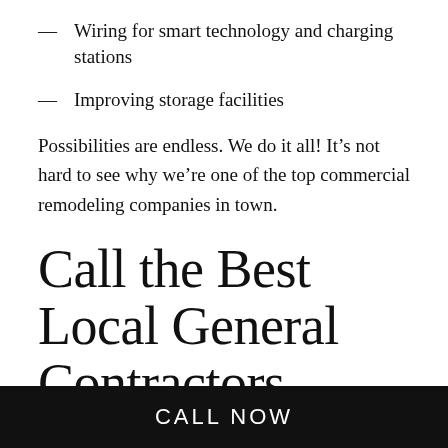Wiring for smart technology and charging stations
Improving storage facilities
Possibilities are endless. We do it all! It’s not hard to see why we’re one of the top commercial remodeling companies in town.
Call the Best Local General Contractors
Now that you know all about us and the great work we do, there’s no better time to call. Reach us at (443) 235-3901 to discuss your no-obligation estimate today. You can ask questions, get more information, and go over your options
CALL NOW